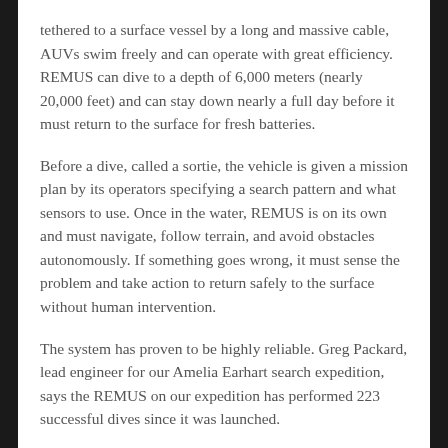tethered to a surface vessel by a long and massive cable, AUVs swim freely and can operate with great efficiency. REMUS can dive to a depth of 6,000 meters (nearly 20,000 feet) and can stay down nearly a full day before it must return to the surface for fresh batteries.
Before a dive, called a sortie, the vehicle is given a mission plan by its operators specifying a search pattern and what sensors to use. Once in the water, REMUS is on its own and must navigate, follow terrain, and avoid obstacles autonomously. If something goes wrong, it must sense the problem and take action to return safely to the surface without human intervention.
The system has proven to be highly reliable. Greg Packard, lead engineer for our Amelia Earhart search expedition, says the REMUS on our expedition has performed 223 successful dives since it was launched.